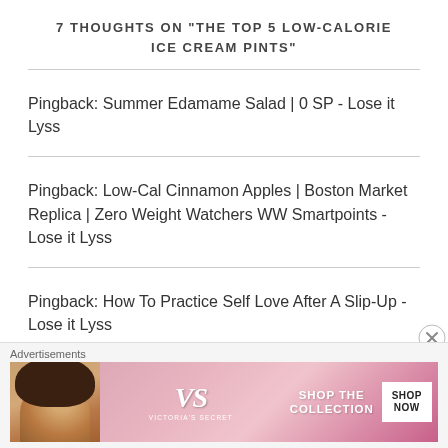7 THOUGHTS ON "THE TOP 5 LOW-CALORIE ICE CREAM PINTS"
Pingback: Summer Edamame Salad | 0 SP - Lose it Lyss
Pingback: Low-Cal Cinnamon Apples | Boston Market Replica | Zero Weight Watchers WW Smartpoints - Lose it Lyss
Pingback: How To Practice Self Love After A Slip-Up - Lose it Lyss
[Figure (other): Victoria's Secret advertisement banner with model, VS logo, 'SHOP THE COLLECTION' text and 'SHOP NOW' button]